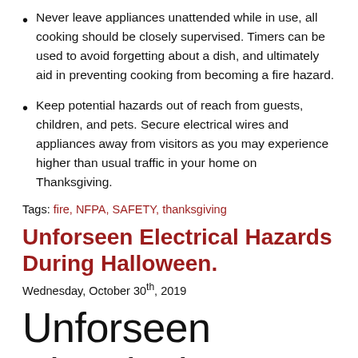Never leave appliances unattended while in use, all cooking should be closely supervised. Timers can be used to avoid forgetting about a dish, and ultimately aid in preventing cooking from becoming a fire hazard.
Keep potential hazards out of reach from guests, children, and pets. Secure electrical wires and appliances away from visitors as you may experience higher than usual traffic in your home on Thanksgiving.
Tags: fire, NFPA, SAFETY, thanksgiving
Unforseen Electrical Hazards During Halloween.
Wednesday, October 30th, 2019
Unforseen Electrical Hazards During Halloween